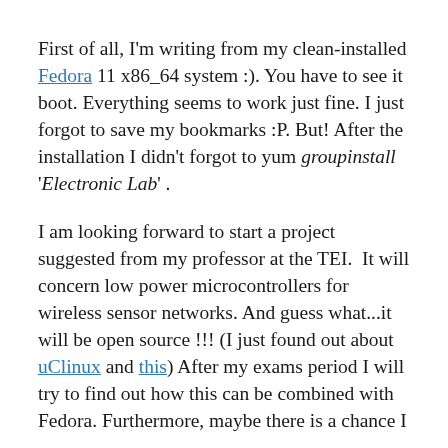First of all, I'm writing from my clean-installed Fedora 11 x86_64 system :). You have to see it boot. Everything seems to work just fine. I just forgot to save my bookmarks :P. But! After the installation I didn't forgot to yum groupinstall 'Electronic Lab' .
I am looking forward to start a project suggested from my professor at the TEI. It will concern low power microcontrollers for wireless sensor networks. And guess what...it will be open source !!! (I just found out about uClinux and this) After my exams period I will try to find out how this can be combined with Fedora. Furthermore, maybe there is a chance I